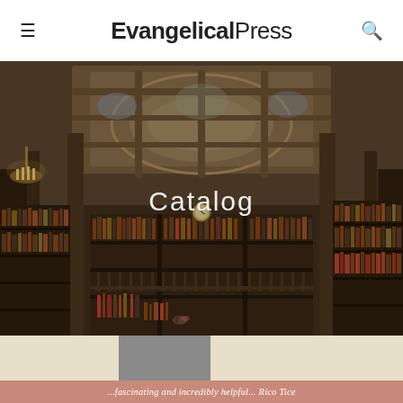EvangelicalPress
[Figure (photo): Grand library interior with ornate arched ceiling, chandeliers, and floor-to-ceiling bookshelves filled with books. The word 'Catalog' appears centered in white text over the image.]
Catalog
[Figure (photo): Partial view of a book cover with a tan/cream and gray color scheme, with a dusty rose/salmon banner across it reading '...fascinating and incredibly helpful... Rico Tice']
...fascinating and incredibly helpful... Rico Tice